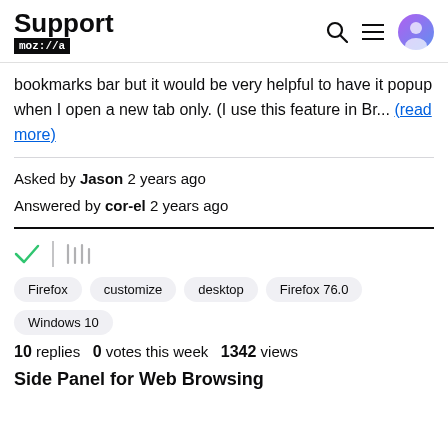Support mozilla://a
bookmarks bar but it would be very helpful to have it popup when I open a new tab only. (I use this feature in Br... (read more)
Asked by Jason 2 years ago
Answered by cor-el 2 years ago
[Figure (other): Checkmark and shelf/library icons]
Firefox  customize  desktop  Firefox 76.0  Windows 10
10 replies  0 votes this week  1342 views
Side Panel for Web Browsing